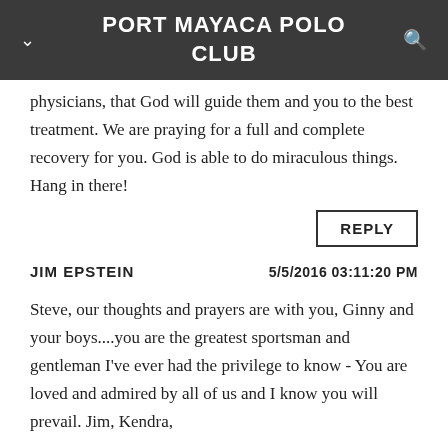PORT MAYACA POLO CLUB
physicians, that God will guide them and you to the best treatment. We are praying for a full and complete recovery for you. God is able to do miraculous things. Hang in there!
REPLY
JIM EPSTEIN	5/5/2016 03:11:20 PM
Steve, our thoughts and prayers are with you, Ginny and your boys....you are the greatest sportsman and gentleman I've ever had the privilege to know - You are loved and admired by all of us and I know you will prevail. Jim, Kendra,